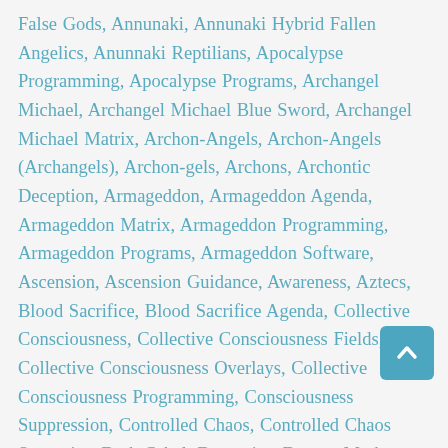False Gods, Annunaki, Annunaki Hybrid Fallen Angelics, Anunnaki Reptilians, Apocalypse Programming, Apocalypse Programs, Archangel Michael, Archangel Michael Blue Sword, Archangel Michael Matrix, Archon-Angels, Archon-Angels (Archangels), Archon-gels, Archons, Archontic Deception, Armageddon, Armageddon Agenda, Armageddon Matrix, Armageddon Programming, Armageddon Programs, Armageddon Software, Ascension, Ascension Guidance, Awareness, Aztecs, Blood Sacrifice, Blood Sacrifice Agenda, Collective Consciousness, Collective Consciousness Fields, Collective Consciousness Overlays, Collective Consciousness Programming, Consciousness Suppression, Controlled Chaos, Controlled Chaos Strategies, Dark Cabal, Demonics, Dragon Moth, Dragon Moth Grid, Enlightenment, Enslavement, Fallen Angelics, Fallen Seraphim Races, False Gods, False Jesus, False King of Tyranny, False Light Matrix, False Michael, False Prophecies, False Prophecy, Family of Michael, Four Horsemen, Four Horsemen Apocalyptic Programming, Frequency Fence, Frequency Fences, Gold Ray